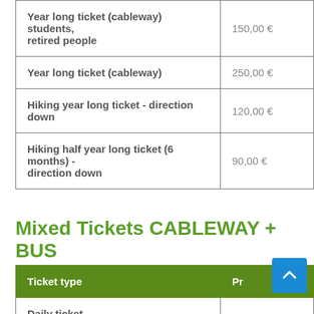| Ticket type | Price |
| --- | --- |
| Year long ticket (cableway) students, retired people | 150,00 € |
| Year long ticket (cableway) | 250,00 € |
| Hiking year long ticket - direction down | 120,00 € |
| Hiking half year long ticket (6 months) - direction down | 90,00 € |
Mixed Tickets CABLEWAY + BUS
| Ticket type | Price |
| --- | --- |
| Daily ticket ... |  |